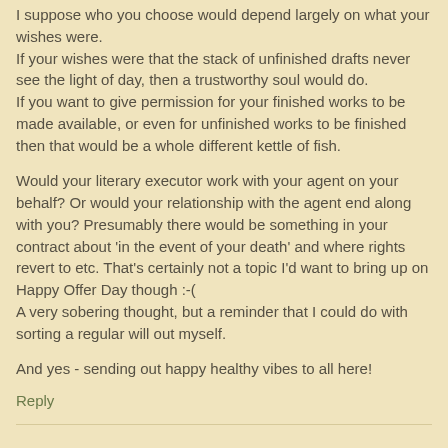I suppose who you choose would depend largely on what your wishes were.
If your wishes were that the stack of unfinished drafts never see the light of day, then a trustworthy soul would do.
If you want to give permission for your finished works to be made available, or even for unfinished works to be finished then that would be a whole different kettle of fish.
Would your literary executor work with your agent on your behalf? Or would your relationship with the agent end along with you? Presumably there would be something in your contract about 'in the event of your death' and where rights revert to etc. That's certainly not a topic I'd want to bring up on Happy Offer Day though :-(
A very sobering thought, but a reminder that I could do with sorting a regular will out myself.
And yes - sending out happy healthy vibes to all here!
Reply
DeadSpiderEye 5/24/16, 10:14 AM